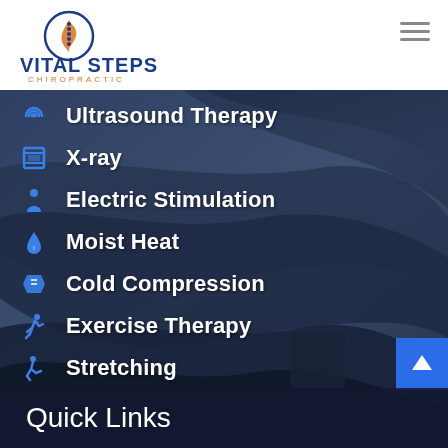[Figure (logo): Vital Steps Chiropractic logo with circular spine/leaf emblem in blue and orange, company name in blue below]
Ultrasound Therapy
X-ray
Electric Stimulation
Moist Heat
Cold Compression
Exercise Therapy
Stretching
Quick Links